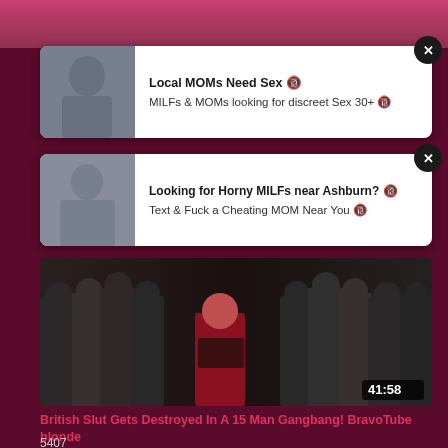[Figure (screenshot): Top strip image (partial video/photo)]
[Figure (screenshot): Ad card 1: Local MOMs Need Sex with thumbnail of woman]
Local MOMs Need Sex 🔞
MILFs & MOMs looking for discreet Sex 30+ 🔞
[Figure (screenshot): Ad card 2: Looking for Horny MILFs near Ashburn? with thumbnail of woman]
Looking for Horny MILFs near Ashburn? 🔞
Text & Fuck a Cheating MOM Near You 🔞
[Figure (screenshot): Video thumbnail showing group of people, duration 41:58]
British Slut Gets Destroyed In A 15 Man Gangbang! BravoTube blonde
5407